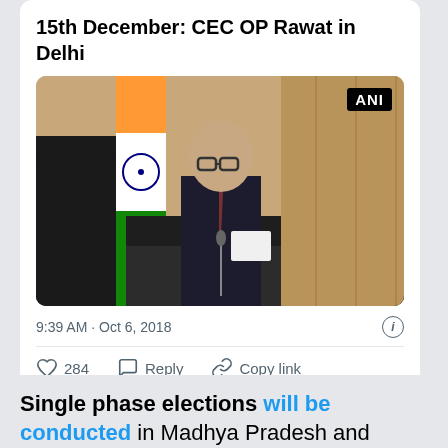15th December: CEC OP Rawat in Delhi
[Figure (photo): ANI photo of CEC OP Rawat seated at a press conference table, Indian flag visible in background, speaking into microphones]
9:39 AM · Oct 6, 2018
284   Reply   Copy link
Read 18 replies
Single phase elections will be conducted in Madhya Pradesh and